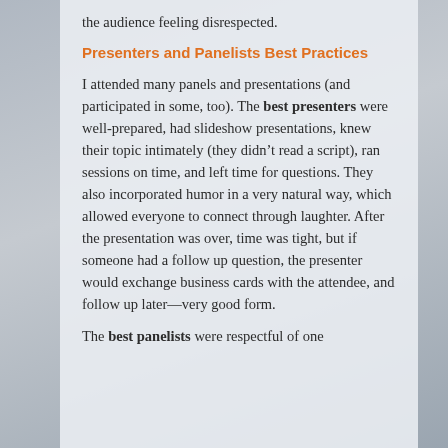the audience feeling disrespected.
Presenters and Panelists Best Practices
I attended many panels and presentations (and participated in some, too). The best presenters were well-prepared, had slideshow presentations, knew their topic intimately (they didn't read a script), ran sessions on time, and left time for questions. They also incorporated humor in a very natural way, which allowed everyone to connect through laughter. After the presentation was over, time was tight, but if someone had a follow up question, the presenter would exchange business cards with the attendee, and follow up later—very good form.
The best panelists were respectful of one